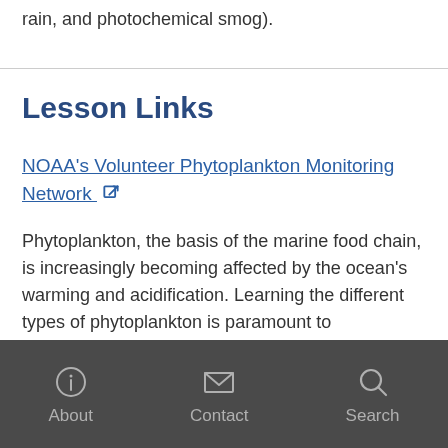rain, and photochemical smog).
Lesson Links
NOAA's Volunteer Phytoplankton Monitoring Network [external link]
Phytoplankton, the basis of the marine food chain, is increasingly becoming affected by the ocean's warming and acidification. Learning the different types of phytoplankton is paramount to understanding the possible effects of
About   Contact   Search